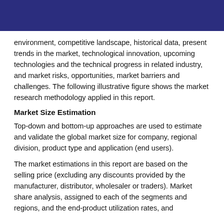environment, competitive landscape, historical data, present trends in the market, technological innovation, upcoming technologies and the technical progress in related industry, and market risks, opportunities, market barriers and challenges. The following illustrative figure shows the market research methodology applied in this report.
Market Size Estimation
Top-down and bottom-up approaches are used to estimate and validate the global market size for company, regional division, product type and application (end users).
The market estimations in this report are based on the selling price (excluding any discounts provided by the manufacturer, distributor, wholesaler or traders). Market share analysis, assigned to each of the segments and regions, and the end-product utilization rates, and